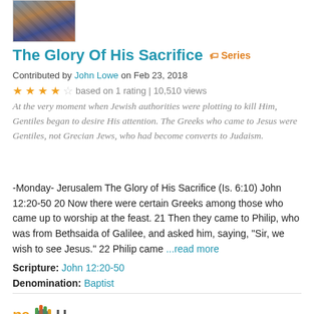[Figure (photo): Small thumbnail image of a religious painting/illustration at top left]
The Glory Of His Sacrifice  🏷 Series
Contributed by John Lowe on Feb 23, 2018
★★★★☆ based on 1 rating | 10,510 views
At the very moment when Jewish authorities were plotting to kill Him, Gentiles began to desire His attention. The Greeks who came to Jesus were Gentiles, not Grecian Jews, who had become converts to Judaism.
-Monday- Jerusalem The Glory of His Sacrifice (Is. 6:10) John 12:20-50 20 Now there were certain Greeks among those who came up to worship at the feast. 21 Then they came to Philip, who was from Bethsaida of Galilee, and asked him, saying, "Sir, we wish to see Jesus." 22 Philip came ...read more
Scripture: John 12:20-50
Denomination: Baptist
[Figure (logo): SermonCentral / newH logo at bottom left]